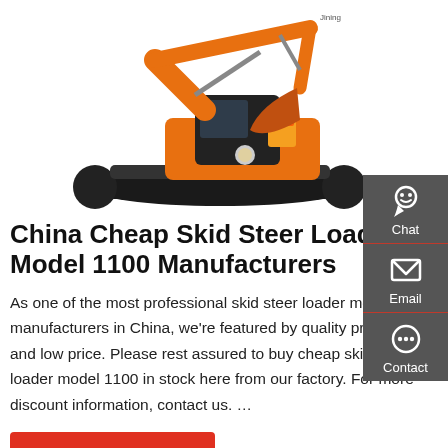[Figure (photo): Orange and black excavator/crawler machine on white background]
China Cheap Skid Steer Loader Model 1100 Manufacturers
As one of the most professional skid steer loader model 1100 manufacturers in China, we're featured by quality products and low price. Please rest assured to buy cheap skid steer loader model 1100 in stock here from our factory. For more discount information, contact us. …